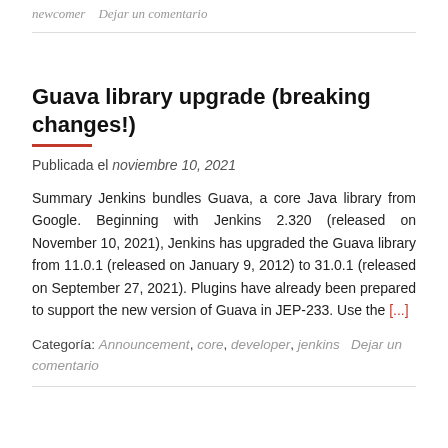newcomer   Dejar un comentario
Guava library upgrade (breaking changes!)
Publicada el noviembre 10, 2021
Summary Jenkins bundles Guava, a core Java library from Google. Beginning with Jenkins 2.320 (released on November 10, 2021), Jenkins has upgraded the Guava library from 11.0.1 (released on January 9, 2012) to 31.0.1 (released on September 27, 2021). Plugins have already been prepared to support the new version of Guava in JEP-233. Use the [...]
Categoría: Announcement, core, developer, jenkins   Dejar un comentario